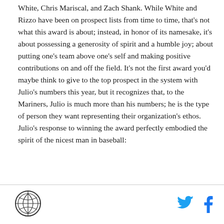White, Chris Mariscal, and Zach Shank. While White and Rizzo have been on prospect lists from time to time, that's not what this award is about; instead, in honor of its namesake, it's about possessing a generosity of spirit and a humble joy; about putting one's team above one's self and making positive contributions on and off the field. It's not the first award you'd maybe think to give to the top prospect in the system with Julio's numbers this year, but it recognizes that, to the Mariners, Julio is much more than his numbers; he is the type of person they want representing their organization's ethos. Julio's response to winning the award perfectly embodied the spirit of the nicest man in baseball:
[logo] [twitter icon] [facebook icon]